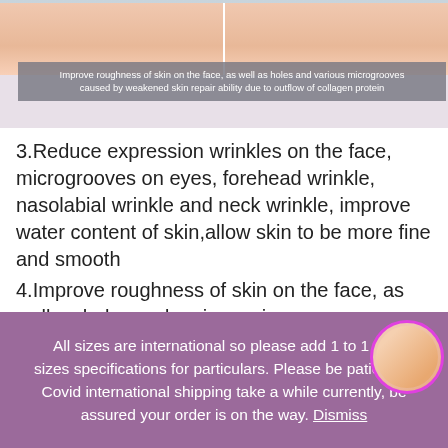[Figure (photo): Two close-up face photos side by side showing skin texture]
Improve roughness of skin on the face, as well as holes and various microgrooves caused by weakened skin repair ability due to outflow of collagen protein
3.Reduce expression wrinkles on the face, microgrooves on eyes, forehead wrinkle, nasolabial wrinkle and neck wrinkle, improve water content of skin,allow skin to be more fine and smooth
4.Improve roughness of skin on the face, as well as holes and various microgrooves caused by weakened skin repair ablity due to outflow of collagen protein
[Figure (photo): Product image showing EXTRACTION OF text with snail icon]
All sizes are international so please add 1 to 1 1/2 sizes specifications for particulars. Please be patient as Covid international shipping take a while currently, be assured your order is on the way. Dismiss